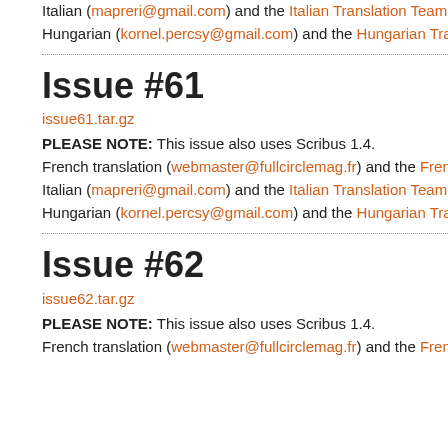Italian (mapreri@gmail.com) and the Italian Translation Team -
Hungarian (kornel.percsy@gmail.com) and the Hungarian Tran
Issue #61
issue61.tar.gz
PLEASE NOTE: This issue also uses Scribus 1.4.
French translation (webmaster@fullcirclemag.fr) and the Frenc
Italian (mapreri@gmail.com) and the Italian Translation Team -
Hungarian (kornel.percsy@gmail.com) and the Hungarian Tran
Issue #62
issue62.tar.gz
PLEASE NOTE: This issue also uses Scribus 1.4.
French translation (webmaster@fullcirclemag.fr) and the Frenc